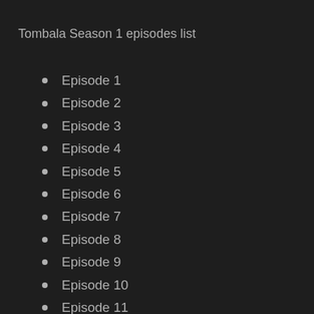Tombala Season 1 episodes list
Episode 1
Episode 2
Episode 3
Episode 4
Episode 5
Episode 6
Episode 7
Episode 8
Episode 9
Episode 10
Episode 11
Episode 12